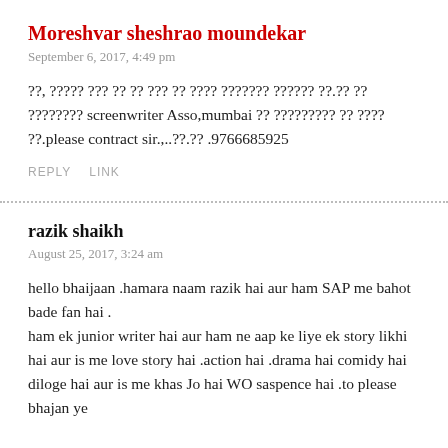Moreshvar sheshrao moundekar
September 6, 2017, 4:49 pm
??, ????? ??? ?? ?? ??? ?? ???? ??????? ?????? ??.?? ?? ???????? screenwriter Asso,mumbai ?? ????????? ?? ???? ??.please contract sir.,..??.?? .9766685925
REPLY    LINK
razik shaikh
August 25, 2017, 3:24 am
hello bhaijaan .hamara naam razik hai aur ham SAP me bahot bade fan hai .
ham ek junior writer hai aur ham ne aap ke liye ek story likhi hai aur is me love story hai .action hai .drama hai comidy hai diloge hai aur is me khas Jo hai WO saspence hai .to please bhajan ye